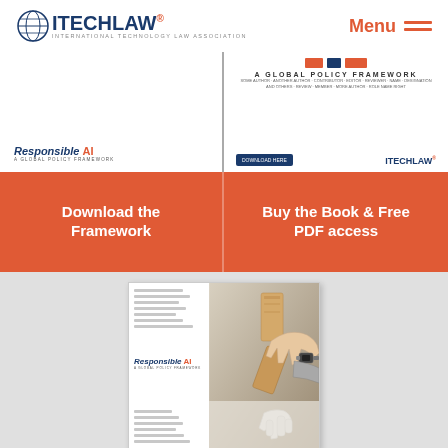ITECHLAW® INTERNATIONAL TECHNOLOGY LAW ASSOCIATION — Menu
[Figure (screenshot): Two-panel image strip showing Responsible AI: A Global Policy Framework document covers — left panel shows front cover with 'Responsible AI / A Global Policy Framework' logo; right panel shows interior spread with title and iTechLaw logo]
Download the Framework
Buy the Book & Free PDF access
[Figure (photo): Book cover of 'Responsible AI: A Global Policy Framework' showing a human hand and a robotic hand interacting with stacked wooden blocks (like dominoes), with topic list on left side including HUMAN AGENCY, PRIVACY, ACCOUNTABILITY, GOVERNANCE, RELIABILITY, FAIRNESS, EXPLAINABILITY, SECURITY, INTEGRITY, INTELLECTUAL PROPERTY]